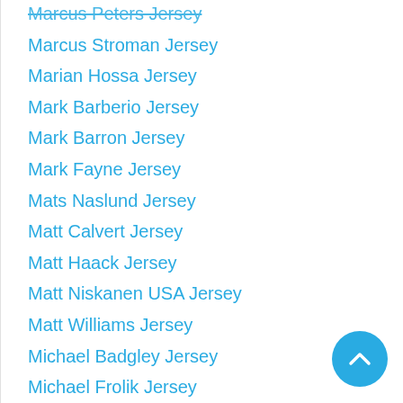Marcus Peters Jersey
Marcus Stroman Jersey
Marian Hossa Jersey
Mark Barberio Jersey
Mark Barron Jersey
Mark Fayne Jersey
Mats Naslund Jersey
Matt Calvert Jersey
Matt Haack Jersey
Matt Niskanen USA Jersey
Matt Williams Jersey
Michael Badgley Jersey
Michael Frolik Jersey
Michael Hoomanawanui Jersey
Michael Irvin Jersey
Michael Johnson Jersey
Mike McGlinchey Jersey
Mikko Rantanen Jersey
Minnesota Wild